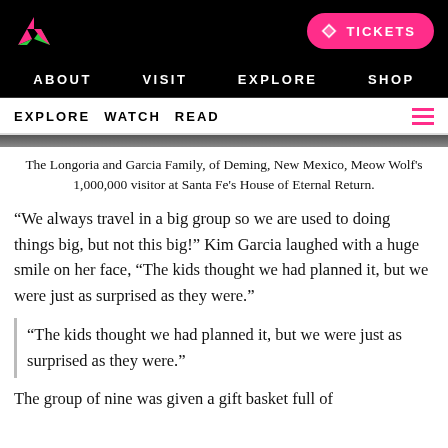Meow Wolf navigation: ABOUT VISIT EXPLORE SHOP | EXPLORE WATCH READ | TICKETS
The Longoria and Garcia Family, of Deming, New Mexico, Meow Wolf's 1,000,000 visitor at Santa Fe's House of Eternal Return.
“We always travel in a big group so we are used to doing things big, but not this big!” Kim Garcia laughed with a huge smile on her face, “The kids thought we had planned it, but we were just as surprised as they were.”
“The kids thought we had planned it, but we were just as surprised as they were.”
The group of nine was given a gift basket full of